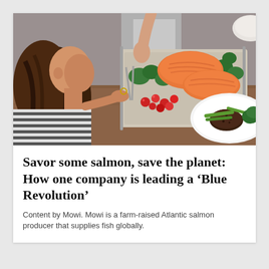[Figure (photo): Overhead view of a woman with long brown hair leaning over a table, looking at a tray of cooked salmon fillets with vegetables (broccoli, cherry tomatoes, asparagus). A white plate with a meat dish and green vegetables is also visible on the wooden table.]
Savor some salmon, save the planet: How one company is leading a ‘Blue Revolution’
Content by Mowi. Mowi is a farm-raised Atlantic salmon producer that supplies fish globally.